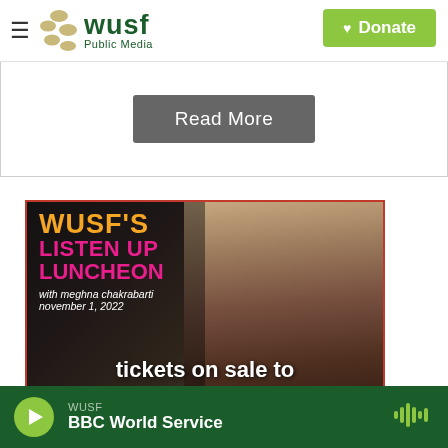WUSF Public Media — Donate
Read More
[Figure (illustration): WUSF's Listen Up Luncheon promotional image featuring Meghna Chakrabarti. Text reads: WUSF'S LISTEN UP LUNCHEON with meghna chakrabarti november 1, 2022 tickets on sale to members now]
WUSF BBC World Service